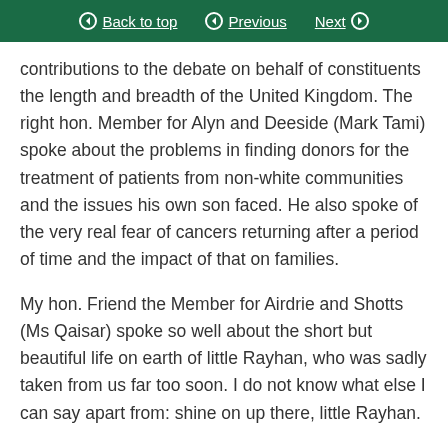Back to top | Previous | Next
contributions to the debate on behalf of constituents the length and breadth of the United Kingdom. The right hon. Member for Alyn and Deeside (Mark Tami) spoke about the problems in finding donors for the treatment of patients from non-white communities and the issues his own son faced. He also spoke of the very real fear of cancers returning after a period of time and the impact of that on families.
My hon. Friend the Member for Airdrie and Shotts (Ms Qaisar) spoke so well about the short but beautiful life on earth of little Rayhan, who was sadly taken from us far too soon. I do not know what else I can say apart from: shine on up there, little Rayhan.